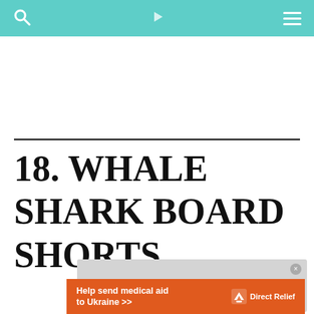Navigation bar with search, play, and menu icons
18. WHALE SHARK BOARD SHORTS
[Figure (screenshot): Video player placeholder showing 'No compatible source was found for this media.' message on grey background with close button]
[Figure (infographic): Orange advertisement banner: 'Help send medical aid to Ukraine >>' with Direct Relief logo]